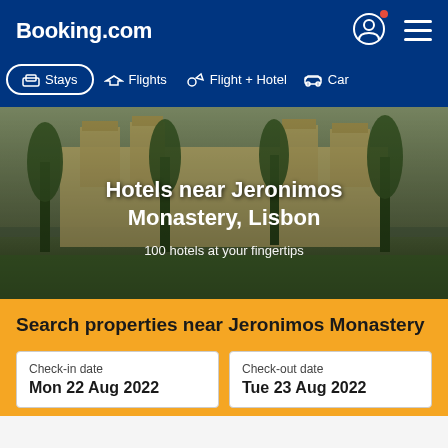Booking.com
Stays
Flights
Flight + Hotel
Car
Hotels near Jeronimos Monastery, Lisbon
100 hotels at your fingertips
Search properties near Jeronimos Monastery
Check-in date
Mon 22 Aug 2022
Check-out date
Tue 23 Aug 2022